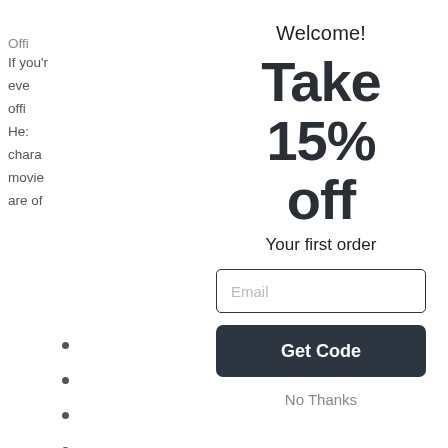Offi
shot
Welcome!
Take 15% off
Your first order
Email
Get Code
No Thanks
If you'r
eve
offi
He
chara
movie
are of
movie,
this
hot
vie
nther
n you
nther.